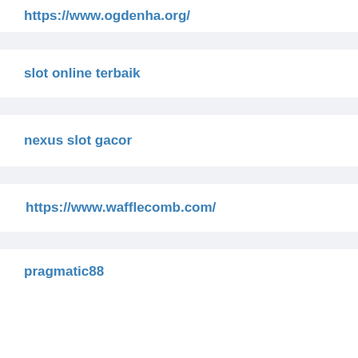https://www.ogdenha.org/
slot online terbaik
nexus slot gacor
https://www.wafflecomb.com/
pragmatic88